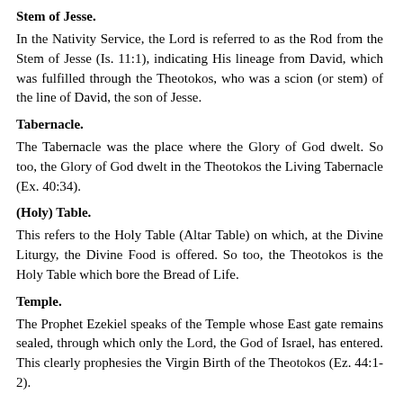Stem of Jesse.
In the Nativity Service, the Lord is referred to as the Rod from the Stem of Jesse (Is. 11:1), indicating His lineage from David, which was fulfilled through the Theotokos, who was a scion (or stem) of the line of David, the son of Jesse.
Tabernacle.
The Tabernacle was the place where the Glory of God dwelt. So too, the Glory of God dwelt in the Theotokos the Living Tabernacle (Ex. 40:34).
(Holy) Table.
This refers to the Holy Table (Altar Table) on which, at the Divine Liturgy, the Divine Food is offered. So too, the Theotokos is the Holy Table which bore the Bread of Life.
Temple.
The Prophet Ezekiel speaks of the Temple whose East gate remains sealed, through which only the Lord, the God of Israel, has entered. This clearly prophesies the Virgin Birth of the Theotokos (Ez. 44:1-2).
Throne.